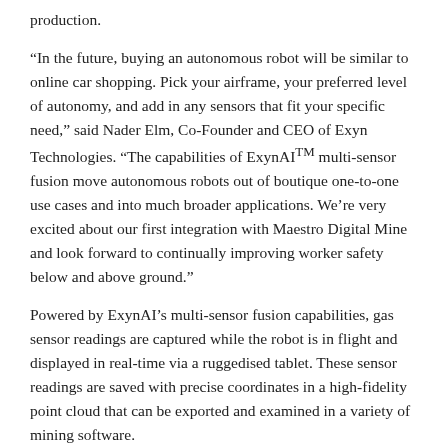production.
“In the future, buying an autonomous robot will be similar to online car shopping. Pick your airframe, your preferred level of autonomy, and add in any sensors that fit your specific need,” said Nader Elm, Co-Founder and CEO of Exyn Technologies. “The capabilities of ExynAI™ multi-sensor fusion move autonomous robots out of boutique one-to-one use cases and into much broader applications. We’re very excited about our first integration with Maestro Digital Mine and look forward to continually improving worker safety below and above ground.”
Powered by ExynAI’s multi-sensor fusion capabilities, gas sensor readings are captured while the robot is in flight and displayed in real-time via a ruggedised tablet. These sensor readings are saved with precise coordinates in a high-fidelity point cloud that can be exported and examined in a variety of mining software.
With lives and money at risk, the sensor-equipped ExynAero is the next step in improving worker safety in the mining industry.
“Collaborating with a world leading autonomous drone manufacturer is another important step to living up to our core purpose of enhancing lives by the pursuit of productivity and safety excellence,” added Michael Gribbons, CEO and Co-Founder of